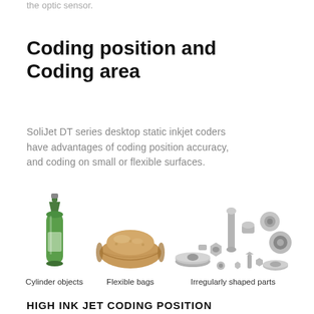the optic sensor.
Coding position and Coding area
SoliJet DT series desktop static inkjet coders have advantages of coding position accuracy, and coding on small or flexible surfaces.
[Figure (photo): Three product photos side by side: a green glass beer bottle (Cylinder objects), a wrapped flexible bag/loaf (Flexible bags), and a collection of irregularly shaped metal parts (Irregularly shaped parts).]
Cylinder objects    Flexible bags    Irregularly shaped parts
HIGH INK JET CODING POSITION